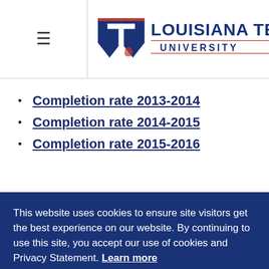Louisiana Tech University
Completion rate 2013-2014
Completion rate 2014-2015
Completion rate 2015-2016
This website uses cookies to ensure site visitors get the best experience on our website. By continuing to use this site, you accept our use of cookies and Privacy Statement. Learn more
I AGREE
The graduation, retention, and transfer rates are